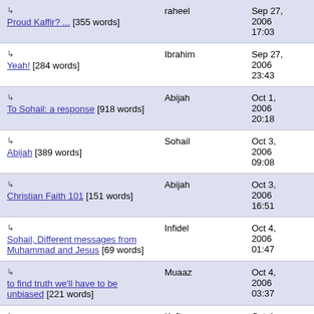| Title | Author | Date |
| --- | --- | --- |
| ↳ Proud Kaffir? ... [355 words] | raheel | Sep 27, 2006 17:03 |
| ↳ Yeah! [284 words] | Ibrahim | Sep 27, 2006 23:43 |
| ↳ To Sohail: a response [918 words] | Abijah | Oct 1, 2006 20:18 |
| ↳ Abijah [389 words] | Sohail | Oct 3, 2006 09:08 |
| ↳ Christian Faith 101 [151 words] | Abijah | Oct 3, 2006 16:51 |
| ↳ Sohail, Different messages from Muhammad and Jesus [69 words] | Infidel | Oct 4, 2006 01:47 |
| ↳ to find truth we'll have to be unbiased [221 words] | Muaaz | Oct 4, 2006 03:37 |
| ↳ Kabah is worshipped by islam [34 words] | Kafir | Oct 4, 2006 10:13 |